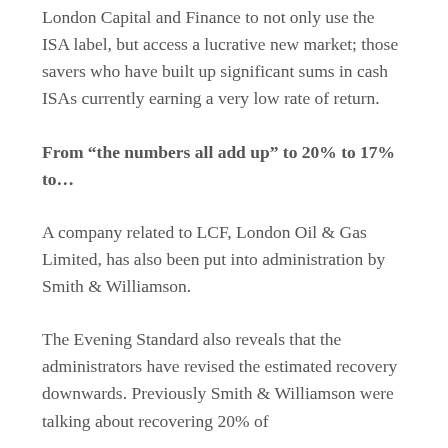London Capital and Finance to not only use the ISA label, but access a lucrative new market; those savers who have built up significant sums in cash ISAs currently earning a very low rate of return.
From “the numbers all add up” to 20% to 17% to…
A company related to LCF, London Oil & Gas Limited, has also been put into administration by Smith & Williamson.
The Evening Standard also reveals that the administrators have revised the estimated recovery downwards. Previously Smith & Williamson were talking about recovering 20% of